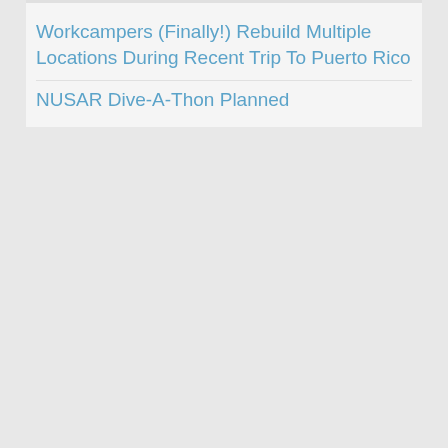Workcampers (Finally!) Rebuild Multiple Locations During Recent Trip To Puerto Rico
NUSAR Dive-A-Thon Planned